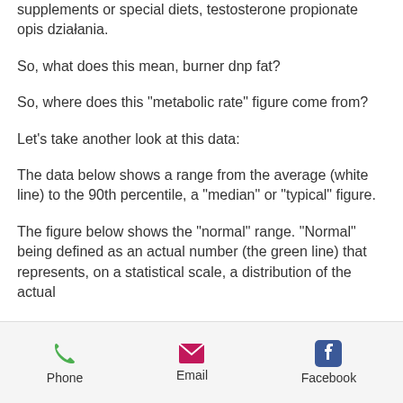supplements or special diets, testosterone propionate opis działania.
So, what does this mean, burner dnp fat?
So, where does this "metabolic rate" figure come from?
Let's take another look at this data:
The data below shows a range from the average (white line) to the 90th percentile, a "median" or "typical" figure.
The figure below shows the "normal" range. "Normal" being defined as an actual number (the green line) that represents, on a statistical scale, a distribution of the actual
Phone   Email   Facebook